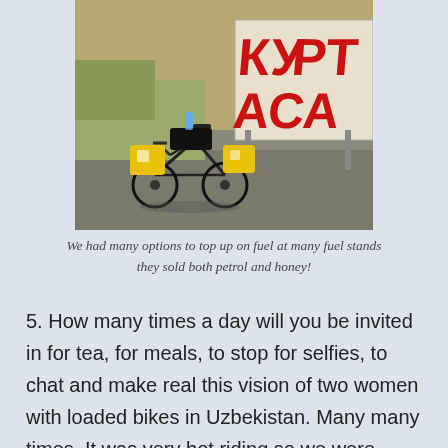[Figure (photo): A loaded touring bicycle with yellow bags parked on asphalt next to a roadside stand with a red-and-white sign showing Cyrillic letters 'КУРТАСАА' (partially visible). The scene appears to be in Central Asia, likely Uzbekistan.]
We had many options to top up on fuel at many fuel stands they sold both petrol and honey!
5. How many times a day will you be invited in for tea, for meals, to stop for selfies, to chat and make real this vision of two women with loaded bikes in Uzbekistan. Many many times. It was very hot riding so we were constantly looking for shade to take a short break. We stopped under a big shady tree 🌳, nodded hello to a local and